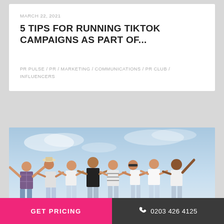MARCH 22, 2021
5 TIPS FOR RUNNING TIKTOK CAMPAIGNS AS PART OF...
PR PULSE / PR / MARKETING / COMMUNICATIONS / PR CLUB / INFLUENCERS
[Figure (photo): Group of young people posing together outdoors against a blue sky background, arms spread out, smiling]
GET PRICING
0203 426 4125